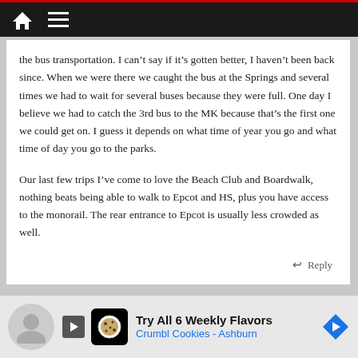Navigation bar with home and menu icons
the bus transportation. I can’t say if it’s gotten better, I haven’t been back since. When we were there we caught the bus at the Springs and several times we had to wait for several buses because they were full. One day I believe we had to catch the 3rd bus to the MK because that’s the first one we could get on. I guess it depends on what time of year you go and what time of day you go to the parks.
Our last few trips I’ve come to love the Beach Club and Boardwalk, nothing beats being able to walk to Epcot and HS, plus you have access to the monorail. The rear entrance to Epcot is usually less crowded as well.
Reply
[Figure (other): Advertisement banner for Crumbl Cookies - Ashburn: Try All 6 Weekly Flavors]